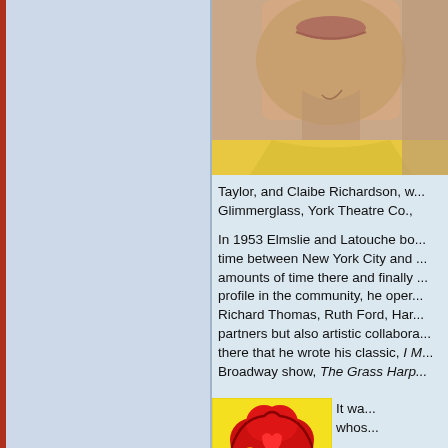[Figure (photo): Close-up photo of a person's lower face and neck, wearing a yellow shirt, skin tones visible]
Taylor, and Claibe Richardson, w... Glimmerglass, York Theatre Co.,
In 1953 Elmslie and Latouche bo... time between New York City and ... amounts of time there and finally ... profile in the community, he oper... Richard Thomas, Ruth Ford, Har... partners but also artistic collabora... there that he wrote his classic, I M... Broadway show, The Grass Harp...
[Figure (illustration): Colorful pop-art style illustration with red heart/flower shapes on a yellow background]
It wa... whos...